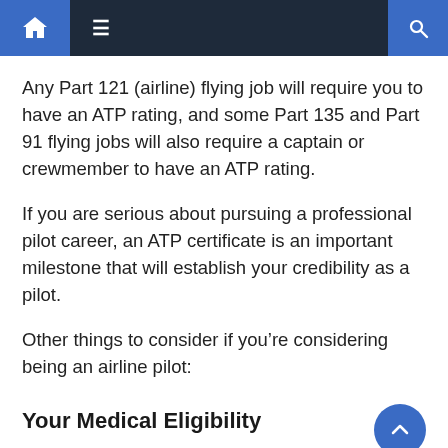Navigation bar with home, menu, and search icons
Any Part 121 (airline) flying job will require you to have an ATP rating, and some Part 135 and Part 91 flying jobs will also require a captain or crewmember to have an ATP rating.
If you are serious about pursuing a professional pilot career, an ATP certificate is an important milestone that will establish your credibility as a pilot.
Other things to consider if you're considering being an airline pilot:
Your Medical Eligibility